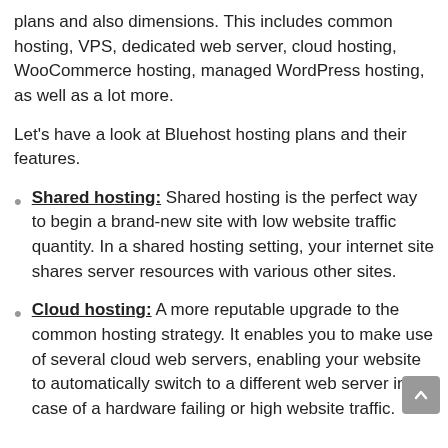plans and also dimensions. This includes common hosting, VPS, dedicated web server, cloud hosting, WooCommerce hosting, managed WordPress hosting, as well as a lot more.
Let's have a look at Bluehost hosting plans and their features.
Shared hosting: Shared hosting is the perfect way to begin a brand-new site with low website traffic quantity. In a shared hosting setting, your internet site shares server resources with various other sites.
Cloud hosting: A more reputable upgrade to the common hosting strategy. It enables you to make use of several cloud web servers, enabling your website to automatically switch to a different web server in case of a hardware failing or high website traffic.